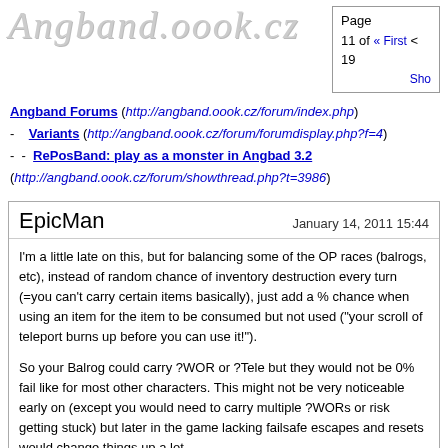Angband.oook.cz — Page 11 of 19 « First <
Angband Forums (http://angband.oook.cz/forum/index.php) - Variants (http://angband.oook.cz/forum/forumdisplay.php?f=4) - - RePosBand: play as a monster in Angbad 3.2 (http://angband.oook.cz/forum/showthread.php?t=3986)
EpicMan — January 14, 2011 15:44
I'm a little late on this, but for balancing some of the OP races (balrogs, etc), instead of random chance of inventory destruction every turn (=you can't carry certain items basically), just add a % chance when using an item for the item to be consumed but not used ("your scroll of teleport burns up before you can use it!").

So your Balrog could carry ?WOR or ?Tele but they would not be 0% fail like for most other characters. This might not be very noticeable early on (except you would need to carry multiple ?WORs or risk getting stuck) but later in the game lacking failsafe escapes and resets would change things up a lot.
Sirridan — January 14, 2011 16:22